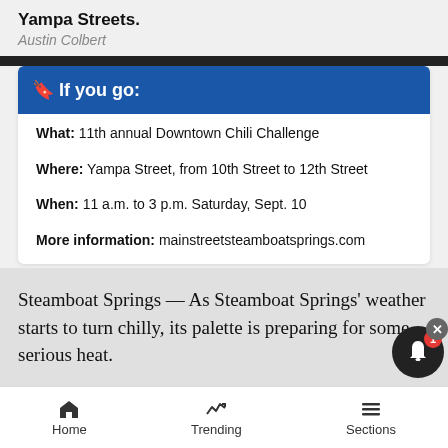Yampa Streets.
Austin Colbert
🔖 If you go:
What: 11th annual Downtown Chili Challenge
Where: Yampa Street, from 10th Street to 12th Street
When: 11 a.m. to 3 p.m. Saturday, Sept. 10
More information: mainstreetsteamboatsprings.com
Steamboat Springs — As Steamboat Springs' weather starts to turn chilly, its palette is preparing for some serious heat.
Home   Trending   Sections